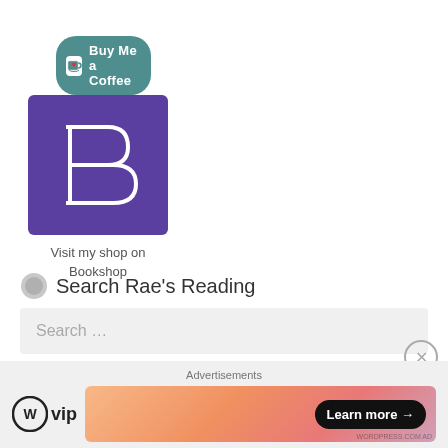[Figure (logo): Buy Me a Coffee teal rounded button with heart cup icon and white text]
[Figure (logo): Bookshop.org purple square logo with stylized letter B in white]
Visit my shop on Bookshop
Search Rae's Reading
Search …
Advertisements
[Figure (logo): WordPress VIP logo with WordPress circle icon and 'vip' text, alongside a gradient ad banner with Learn more arrow button]